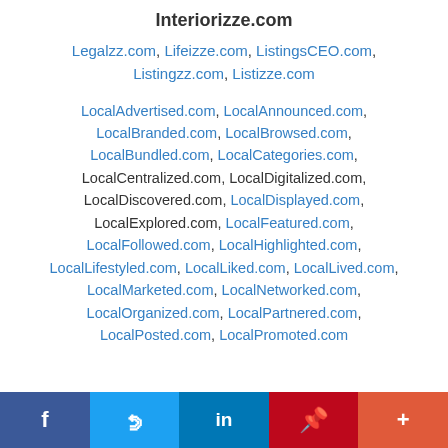Interiorizze.com
Legalzz.com, Lifeizze.com, ListingsCEO.com, Listingzz.com, Listizze.com
LocalAdvertised.com, LocalAnnounced.com, LocalBranded.com, LocalBrowsed.com, LocalBundled.com, LocalCategories.com, LocalCentralized.com, LocalDigitalized.com, LocalDiscovered.com, LocalDisplayed.com, LocalExplored.com, LocalFeatured.com, LocalFollowed.com, LocalHighlighted.com, LocalLifestyled.com, LocalLiked.com, LocalLived.com, LocalMarketed.com, LocalNetworked.com, LocalOrganized.com, LocalPartnered.com, LocalPosted.com, LocalPromoted.com
f  t  in  P  +